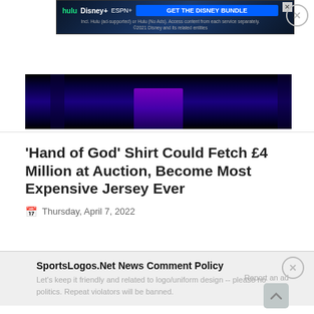[Figure (screenshot): Disney Bundle advertisement banner with Hulu, Disney+, and ESPN+ logos and a blue 'GET THE DISNEY BUNDLE' button on a dark blue background]
[Figure (photo): Dark video thumbnail showing blue/purple curtains or fabric with black background]
'Hand of God' Shirt Could Fetch £4 Million at Auction, Become Most Expensive Jersey Ever
Thursday, April 7, 2022
SportsLogos.Net News Comment Policy
Let's keep it friendly and related to logo/uniform design -- please no politics. Repeat violators will be banned.
Report an ad